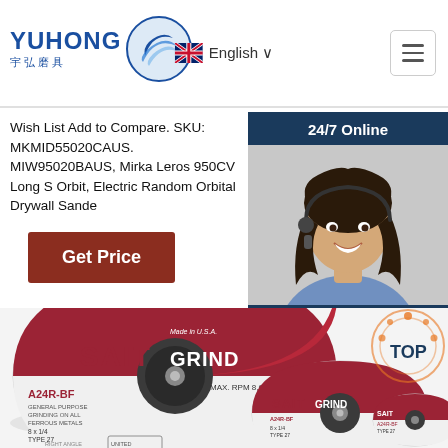[Figure (logo): YUHONG logo with Chinese characters 宇弘磨具 and blue wave icon]
English
Wish List Add to Compare. SKU: MKMID55020CAUS. MIW95020BAUS, Mirka Leros 950CV Long Stroke Orbit, Electric Random Orbital Drywall Sander
[Figure (infographic): 24/7 Online chat widget with female customer service agent photo, 'Click here for free chat!' text and QUOTATION button]
Get Price
[Figure (photo): SAIT GRIND abrasive grinding discs - A24R-BF, various sizes, Made in U.S.A., United Abrasives Inc., MAX RPM 8,600, TYPE 27]